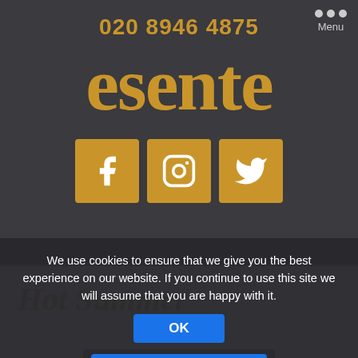020 8946 4875
esente
[Figure (infographic): Three gold social media icon boxes: Facebook, Instagram, Twitter]
Hot Summer
We use cookies to ensure that we give you the best experience on our website. If you continue to use this site we will assume that you are happy with it.
OK
PRIVACY POLICY